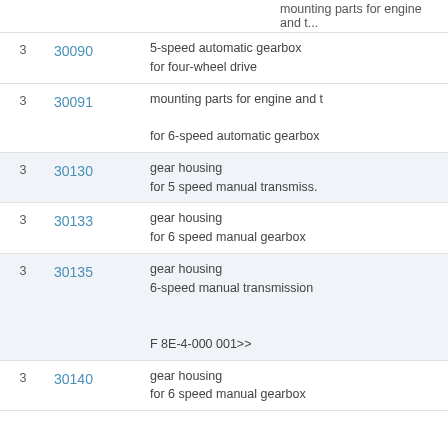| # | Code | Description |
| --- | --- | --- |
| 3 | 30090 | 5-speed automatic gearbox
for four-wheel drive |
| 3 | 30091 | mounting parts for engine and t
for 6-speed automatic gearbox |
| 3 | 30130 | gear housing
for 5 speed manual transmiss. |
| 3 | 30133 | gear housing
for 6 speed manual gearbox |
| 3 | 30135 | gear housing
6-speed manual transmission

F 8E-4-000 001>> |
| 3 | 30140 | gear housing
for 6 speed manual gearbox |